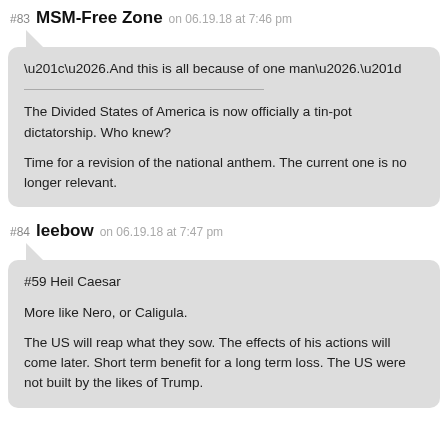#83 MSM-Free Zone on 06.19.18 at 7:46 pm
“….And this is all because of one man….”

The Divided States of America is now officially a tin-pot dictatorship. Who knew?

Time for a revision of the national anthem. The current one is no longer relevant.
#84 leebow on 06.19.18 at 7:47 pm
#59 Heil Caesar

More like Nero, or Caligula.

The US will reap what they sow. The effects of his actions will come later. Short term benefit for a long term loss. The US were not built by the likes of Trump.